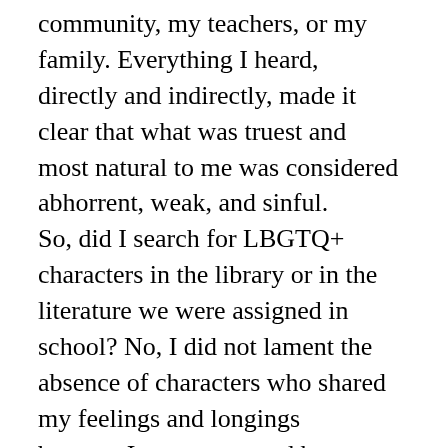community, my teachers, or my family. Everything I heard, directly and indirectly, made it clear that what was truest and most natural to me was considered abhorrent, weak, and sinful. So, did I search for LBGTQ+ characters in the library or in the literature we were assigned in school? No, I did not lament the absence of characters who shared my feelings and longings because I was consumed by denying those longings and trying desperately to be what the world expects a boy to be. To be